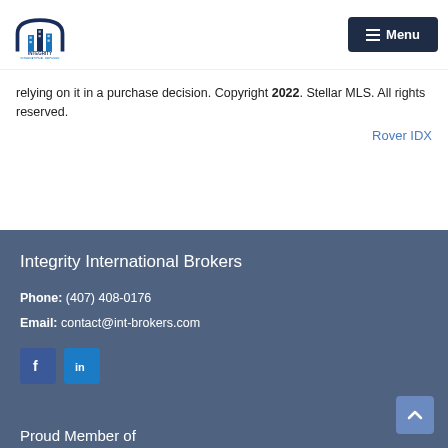[Figure (logo): Integrity International Brokers logo with building icon and text]
Menu button with hamburger icon
relying on it in a purchase decision. Copyright 2022. Stellar MLS. All rights reserved.
Rover IDX
Integrity International Brokers
Phone: (407) 408-0176
Email: contact@int-brokers.com
[Figure (other): Facebook and LinkedIn social media icon buttons]
Proud Member of